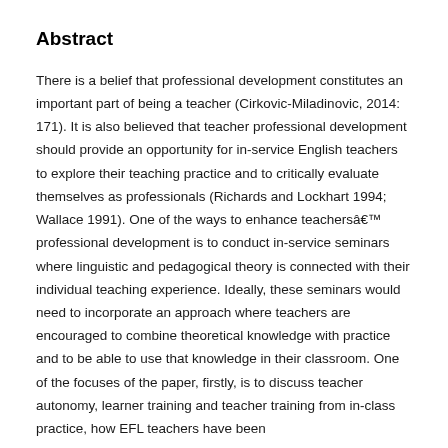Abstract
There is a belief that professional development constitutes an important part of being a teacher (Cirkovic-Miladinovic, 2014: 171). It is also believed that teacher professional development should provide an opportunity for in-service English teachers to explore their teaching practice and to critically evaluate themselves as professionals (Richards and Lockhart 1994; Wallace 1991). One of the ways to enhance teachersâ€™ professional development is to conduct in-service seminars where linguistic and pedagogical theory is connected with their individual teaching experience. Ideally, these seminars would need to incorporate an approach where teachers are encouraged to combine theoretical knowledge with practice and to be able to use that knowledge in their classroom. One of the focuses of the paper, firstly, is to discuss teacher autonomy, learner training and teacher training from in-class practice, how EFL teachers have been...